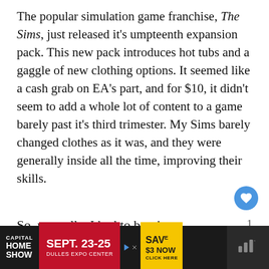The popular simulation game franchise, The Sims, just released it's umpteenth expansion pack. This new pack introduces hot tubs and a gaggle of new clothing options. It seemed like a cash grab on EA's part, and for $10, it didn't seem to add a whole lot of content to a game barely past it's third trimester. My Sims barely changed clothes as it was, and they were generally inside all the time, improving their skills.
So, naturally, I had to buy it.
[Figure (other): Advertisement banner: Capital Home Show, Sept. 23-25, Dulles Expo Center, Save $3 Now, Click Here]